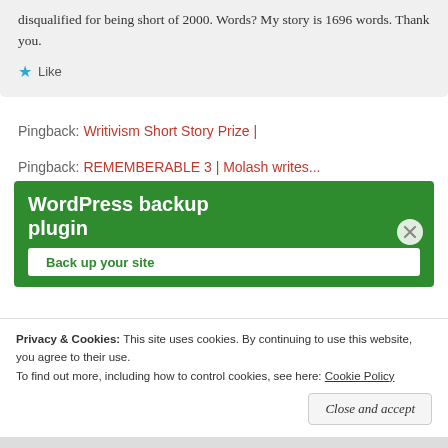disqualified for being short of 2000. Words? My story is 1696 words. Thank you.
Like
Pingback: Writivism Short Story Prize |
Pingback: REMEMBERABLE 3 | Molash writes...
[Figure (screenshot): WordPress backup plugin advertisement banner in green with white text reading 'WordPress backup plugin' and a white button 'Back up your site']
Privacy & Cookies: This site uses cookies. By continuing to use this website, you agree to their use. To find out more, including how to control cookies, see here: Cookie Policy
Close and accept